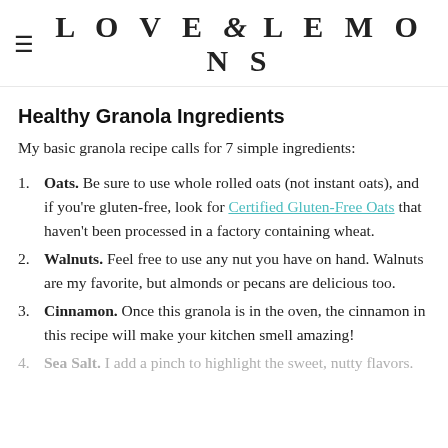LOVE & LEMONS
Healthy Granola Ingredients
My basic granola recipe calls for 7 simple ingredients:
Oats. Be sure to use whole rolled oats (not instant oats), and if you're gluten-free, look for Certified Gluten-Free Oats that haven't been processed in a factory containing wheat.
Walnuts. Feel free to use any nut you have on hand. Walnuts are my favorite, but almonds or pecans are delicious too.
Cinnamon. Once this granola is in the oven, the cinnamon in this recipe will make your kitchen smell amazing!
Sea Salt. I add a pinch to highlight the sweet, nutty flavors.